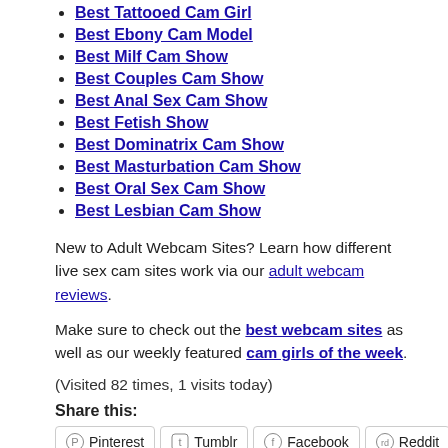Best Tattooed Cam Girl
Best Ebony Cam Model
Best Milf Cam Show
Best Couples Cam Show
Best Anal Sex Cam Show
Best Fetish Show
Best Dominatrix Cam Show
Best Masturbation Cam Show
Best Oral Sex Cam Show
Best Lesbian Cam Show
New to Adult Webcam Sites? Learn how different live sex cam sites work via our adult webcam reviews.
Make sure to check out the best webcam sites as well as our weekly featured cam girls of the week.
(Visited 82 times, 1 visits today)
Share this:
Pinterest  Tumblr  Facebook  Reddit
LinkedIn  Twitter  More